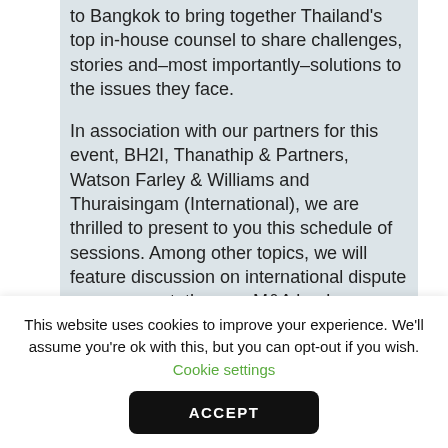to Bangkok to bring together Thailand's top in-house counsel to share challenges, stories and–most importantly–solutions to the issues they face.
In association with our partners for this event, BH2I, Thanathip & Partners, Watson Farley & Williams and Thuraisingam (International), we are thrilled to present to you this schedule of sessions. Among other topics, we will feature discussion on international dispute management, the new M&A landscape, anti-corruption measures, legal crisis management and talent management, with more sessions yet
This website uses cookies to improve your experience. We'll assume you're ok with this, but you can opt-out if you wish. Cookie settings
ACCEPT